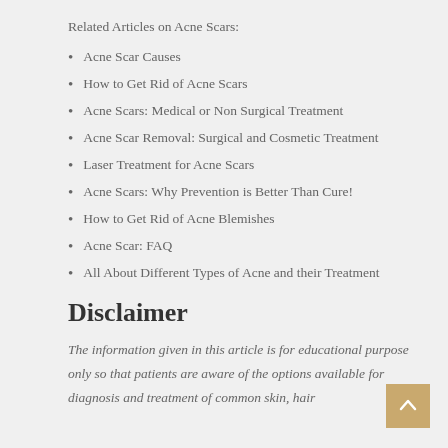Related Articles on Acne Scars:
Acne Scar Causes
How to Get Rid of Acne Scars
Acne Scars: Medical or Non Surgical Treatment
Acne Scar Removal: Surgical and Cosmetic Treatment
Laser Treatment for Acne Scars
Acne Scars: Why Prevention is Better Than Cure!
How to Get Rid of Acne Blemishes
Acne Scar: FAQ
All About Different Types of Acne and their Treatment
Disclaimer
The information given in this article is for educational purpose only so that patients are aware of the options available for diagnosis and treatment of common skin, hair